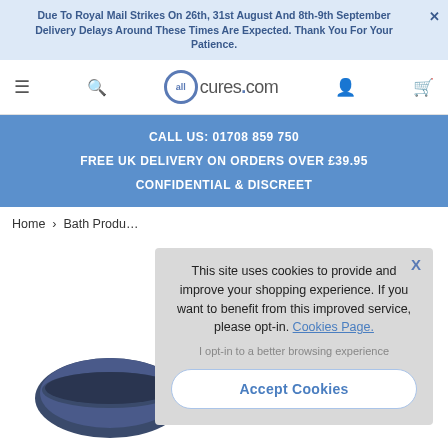Due To Royal Mail Strikes On 26th, 31st August And 8th-9th September Delivery Delays Around These Times Are Expected. Thank You For Your Patience.
[Figure (logo): allcures.com website navigation bar with hamburger menu, search icon, allcures.com logo, account icon, and basket icon]
CALL US: 01708 859 750
FREE UK DELIVERY ON ORDERS OVER £39.95
CONFIDENTIAL & DISCREET
Home › Bath Produ…
This site uses cookies to provide and improve your shopping experience. If you want to benefit from this improved service, please opt-in. Cookies Page.
I opt-in to a better browsing experience
Accept Cookies